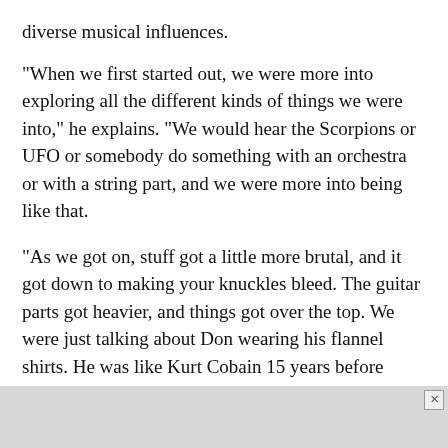diverse musical influences.
"When we first started out, we were more into exploring all the different kinds of things we were into," he explains. "We would hear the Scorpions or UFO or somebody do something with an orchestra or with a string part, and we were more into being like that.
"As we got on, stuff got a little more brutal, and it got down to making your knuckles bleed. The guitar parts got heavier, and things got over the top. We were just talking about Don wearing his flannel shirts. He was like Kurt Cobain 15 years before there was a Kurt Cobain."
Get Tougher! proves Hamar’s point. While much of it resembles the spandex metal that was popular in the early